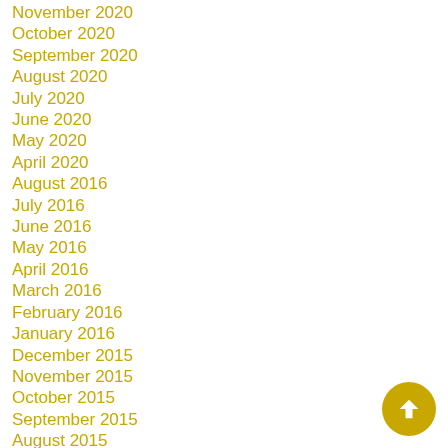November 2020
October 2020
September 2020
August 2020
July 2020
June 2020
May 2020
April 2020
August 2016
July 2016
June 2016
May 2016
April 2016
March 2016
February 2016
January 2016
December 2015
November 2015
October 2015
September 2015
August 2015